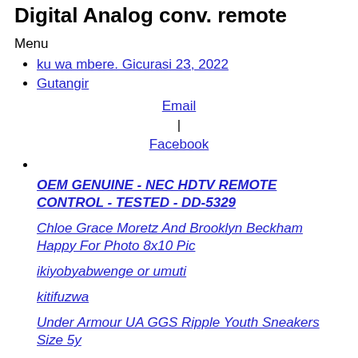Digital Analog conv. remote
Menu
ku wa mbere. Gicurasi 23, 2022
Gutangir
Email | Facebook
OEM GENUINE - NEC HDTV REMOTE CONTROL - TESTED - DD-5329
Chloe Grace Moretz And Brooklyn Beckham Happy For Photo 8x10 Pic
ikiyobyabwenge or umuti
kitifuzwa
Under Armour UA GGS Ripple Youth Sneakers Size 5y